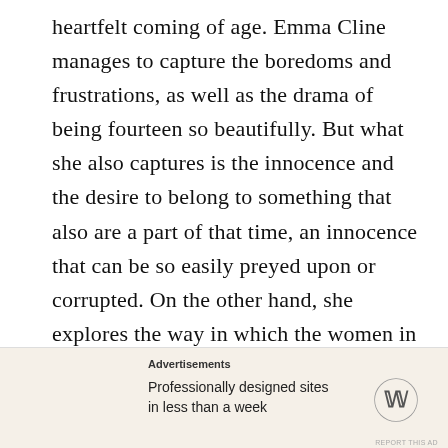heartfelt coming of age. Emma Cline manages to capture the boredoms and frustrations, as well as the drama of being fourteen so beautifully. But what she also captures is the innocence and the desire to belong to something that also are a part of that time, an innocence that can be so easily preyed upon or corrupted. On the other hand, she explores the way in which the women in cults are drawn in and why they might makes the choices that they do. Parallels to the Manson family are easily seen in this book, and while you may look at those women and think they are fools or simply evil, here we see it from the other side.
Advertisements
Professionally designed sites in less than a week